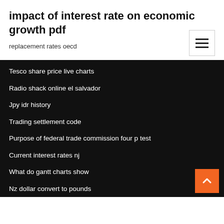impact of interest rate on economic growth pdf
replacement rates oecd
Tesco share price live charts
Radio shack online el salvador
Jpy idr history
Trading settlement code
Purpose of federal trade commission four p test
Current interest rates nj
What do gantt charts show
Nz dollar convert to pounds